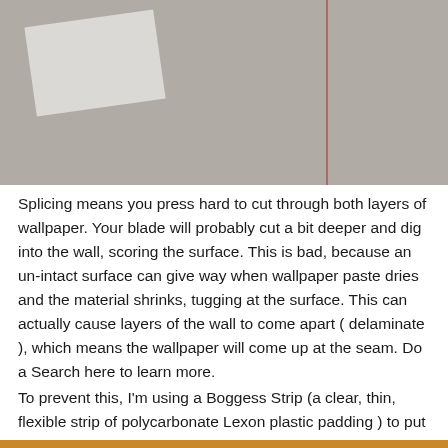[Figure (photo): Photo of a wall surface with a piece of tape/paper and a faint vertical red/pink line on the right side, against a grey wall background.]
Splicing means you press hard to cut through both layers of wallpaper. Your blade will probably cut a bit deeper and dig into the wall, scoring the surface. This is bad, because an un-intact surface can give way when wallpaper paste dries and the material shrinks, tugging at the surface. This can actually cause layers of the wall to come apart ( delaminate ), which means the wallpaper will come up at the seam. Do a Search here to learn more.
To prevent this, I'm using a Boggess Strip (a clear, thin, flexible strip of polycarbonate Lexon plastic padding ) to put under where the splice will take place, to protect the wall. You can't cut through this stuff!